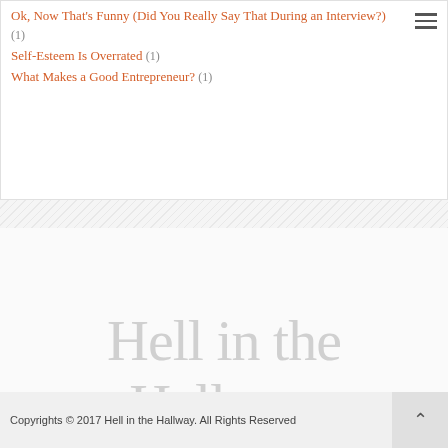Ok, Now That's Funny (Did You Really Say That During an Interview?) (1)
Self-Esteem Is Overrated (1)
What Makes a Good Entrepreneur? (1)
Hell in the Hallway
WHEN ONE DOOR CLOSES ANOTHER OPENS...
Copyrights © 2017 Hell in the Hallway. All Rights Reserved